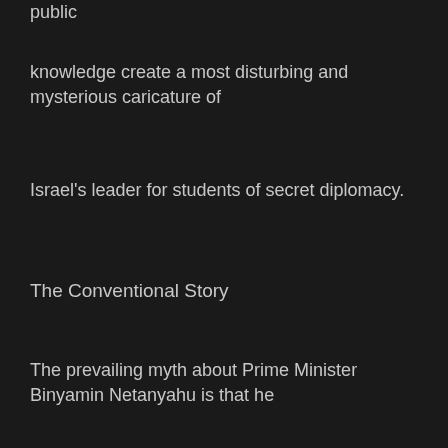public
knowledge create a most disturbing and mysterious caricature of
Israel's leader for students of secret diplomacy.
The Conventional Story
The prevailing myth about Prime Minister Binyamin Netanyahu is that he
grew up in a highly politicized, right wing household. Responsibility
for the presumption lies with his father Bar Tzion, a dedicated